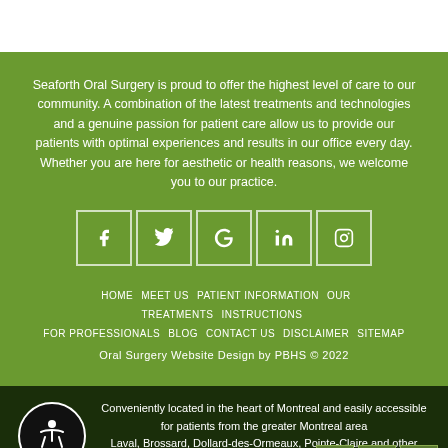Seaforth Oral Surgery is proud to offer the highest level of care to our community. A combination of the latest treatments and technologies and a genuine passion for patient care allow us to provide our patients with optimal experiences and results in our office every day. Whether you are here for aesthetic or health reasons, we welcome you to our practice.
[Figure (infographic): Social media icon buttons in white bordered squares: Facebook, Twitter, Google, LinkedIn, Instagram]
HOME  MEET US  PATIENT INFORMATION  OUR TREATMENTS  INSTRUCTIONS FOR PROFESSIONALS  BLOG  CONTACT US  DISCLAIMER  SITEMAP
Oral Surgery Website Design by PBHS © 2022
Conveniently located in the heart of Montreal and easily accessible for patients from the greater Montreal area
Laval, Brossard, Dollard-des-Ormeaux, Pointe-Claire and other cities across the province of Quebec Québec